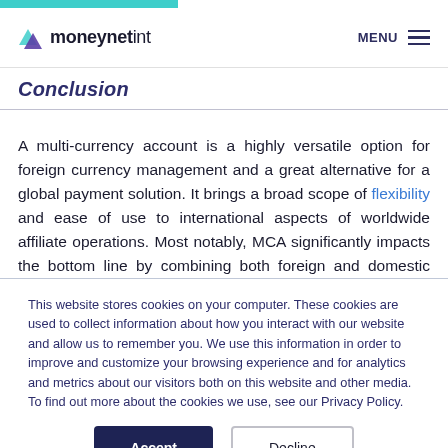[Figure (logo): moneynetint logo with teal arrow icon and purple/dark text]
Conclusion
A multi-currency account is a highly versatile option for foreign currency management and a great alternative for a global payment solution. It brings a broad scope of flexibility and ease of use to international aspects of worldwide affiliate operations. Most notably, MCA significantly impacts the bottom line by combining both foreign and domestic accounts. With it, a global affiliate can
This website stores cookies on your computer. These cookies are used to collect information about how you interact with our website and allow us to remember you. We use this information in order to improve and customize your browsing experience and for analytics and metrics about our visitors both on this website and other media. To find out more about the cookies we use, see our Privacy Policy.